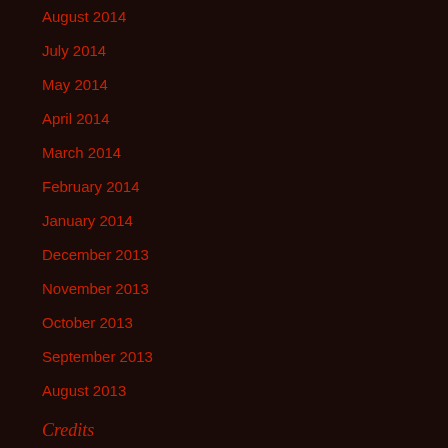August 2014
July 2014
May 2014
April 2014
March 2014
February 2014
January 2014
December 2013
November 2013
October 2013
September 2013
August 2013
Credits